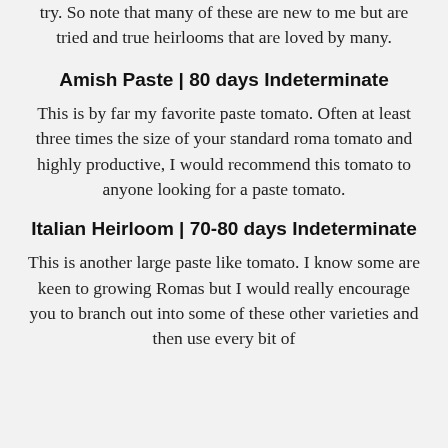try. So note that many of these are new to me but are tried and true heirlooms that are loved by many.
Amish Paste | 80 days Indeterminate
This is by far my favorite paste tomato. Often at least three times the size of your standard roma tomato and highly productive, I would recommend this tomato to anyone looking for a paste tomato.
Italian Heirloom | 70-80 days Indeterminate
This is another large paste like tomato. I know some are keen to growing Romas but I would really encourage you to branch out into some of these other varieties and then use every bit of